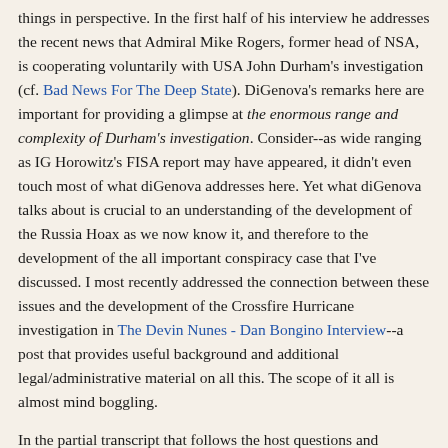things in perspective. In the first half of his interview he addresses the recent news that Admiral Mike Rogers, former head of NSA, is cooperating voluntarily with USA John Durham's investigation (cf. Bad News For The Deep State). DiGenova's remarks here are important for providing a glimpse at the enormous range and complexity of Durham's investigation. Consider--as wide ranging as IG Horowitz's FISA report may have appeared, it didn't even touch most of what diGenova addresses here. Yet what diGenova talks about is crucial to an understanding of the development of the Russia Hoax as we now know it, and therefore to the development of the all important conspiracy case that I've discussed. I most recently addressed the connection between these issues and the development of the Crossfire Hurricane investigation in The Devin Nunes - Dan Bongino Interview--a post that provides useful background and additional legal/administrative material on all this. The scope of it all is almost mind boggling.
In the partial transcript that follows the host questions and comments are paraphrased, but diGenova's words are very literal. He misspeaks a few times, but I've left that as is--although I've interjected some explanatory comments.